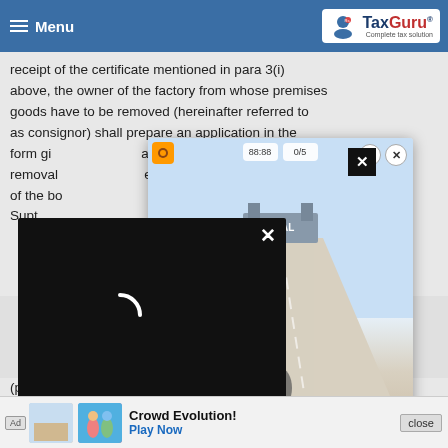Menu | TaxGuru - Complete tax solution
receipt of the certificate mentioned in para 3(i) above, the owner of the factory from whose premises goods have to be removed (hereinafter referred to as consignor) shall prepare an application in the form given in the Annexure- B appended to this date, for removal of goods under claim of rebate, giving the details of the bond executed and acknowledged by the Superintendent. A separate application for removal of goods is to be prepared for each consignment. Separate applications shall be maintained for each financial year. The manufacturer or consignor shall maintain all the records (pay...
(b) Preparation and disposal of Annexure- C: The manufacturer or consignor shall also prepare an invoice in terms of Rule 11 of the Central Excise Rules, 2002 to accompany the goods produced or intended to be produced and shall will
[Figure (screenshot): Video loading overlay - black rectangle with white spinning loader icon and X close button]
[Figure (screenshot): Mobile game advertisement showing a running track/road game with START button, question mark and X controls]
[Figure (screenshot): Bottom banner advertisement for 'Crowd Evolution!' mobile game with Play Now button and close button]